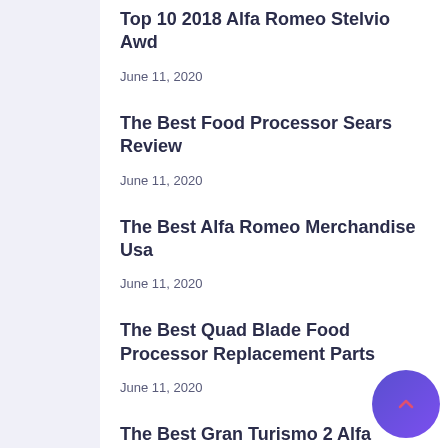Top 10 2018 Alfa Romeo Stelvio Awd
June 11, 2020
The Best Food Processor Sears Review
June 11, 2020
The Best Alfa Romeo Merchandise Usa
June 11, 2020
The Best Quad Blade Food Processor Replacement Parts
June 11, 2020
The Best Gran Turismo 2 Alfa